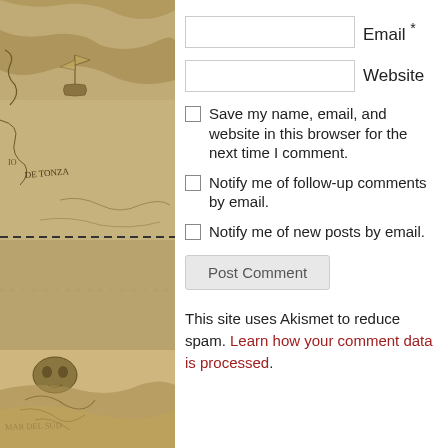[Figure (illustration): Left sidebar showing an old antique map with ships, sea monsters, landmasses, and old cartographic text including 'DE TONZA' and 'MAR DEL SUD'. A dashed horizontal line divides the map roughly in the middle.]
Email *
Website
Save my name, email, and website in this browser for the next time I comment.
Notify me of follow-up comments by email.
Notify me of new posts by email.
Post Comment
This site uses Akismet to reduce spam. Learn how your comment data is processed.